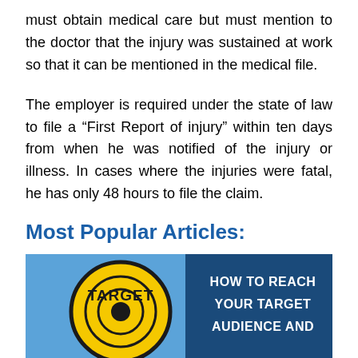must obtain medical care but must mention to the doctor that the injury was sustained at work so that it can be mentioned in the medical file.
The employer is required under the state of law to file a “First Report of injury” within ten days from when he was notified of the injury or illness. In cases where the injuries were fatal, he has only 48 hours to file the claim.
Most Popular Articles:
[Figure (illustration): An image showing a yellow TARGET sign (circular, like a road sign) on the left against a blue sky, and a dark blue panel on the right with white bold text reading 'HOW TO REACH YOUR TARGET AUDIENCE AND']